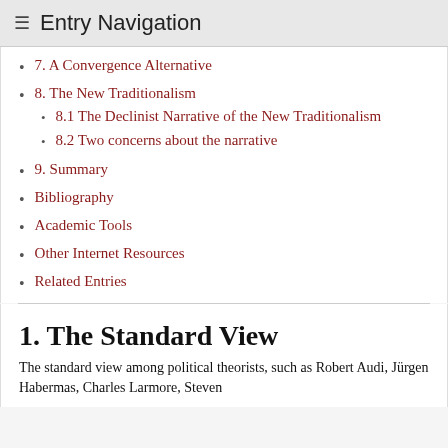≡ Entry Navigation
7. A Convergence Alternative
8. The New Traditionalism
8.1 The Declinist Narrative of the New Traditionalism
8.2 Two concerns about the narrative
9. Summary
Bibliography
Academic Tools
Other Internet Resources
Related Entries
1. The Standard View
The standard view among political theorists, such as Robert Audi, Jürgen Habermas, Charles Larmore, Steven